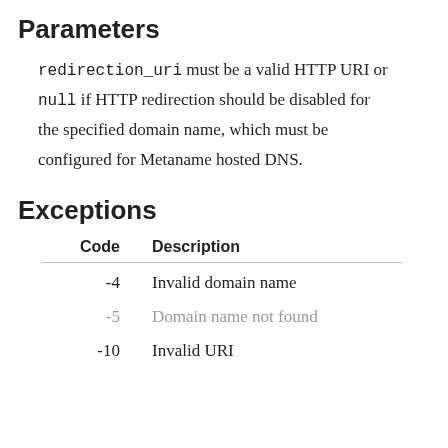Parameters
redirection_uri must be a valid HTTP URI or null if HTTP redirection should be disabled for the specified domain name, which must be configured for Metaname hosted DNS.
Exceptions
| Code | Description |
| --- | --- |
| -4 | Invalid domain name |
| -5 | Domain name not found |
| -10 | Invalid URI |